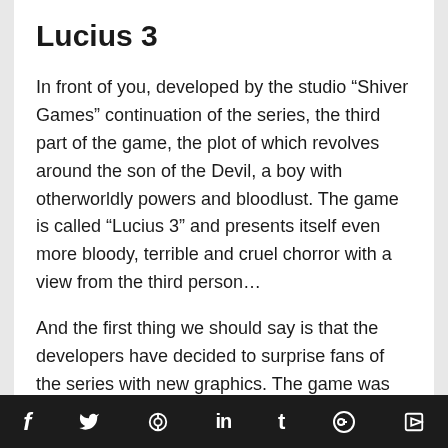Lucius 3
In front of you, developed by the studio “Shiver Games” continuation of the series, the third part of the game, the plot of which revolves around the son of the Devil, a boy with otherworldly powers and bloodlust. The game is called “Lucius 3” and presents itself even more bloody, terrible and cruel chorror with a view from the third person…
And the first thing we should say is that the developers have decided to surprise fans of the series with new graphics. The game was moved to a more modern engine and received improved graphics, and at the same time more advanced physics, realistic animation and a use of special
f     🐦  📌  in  t  Ⓡ  S